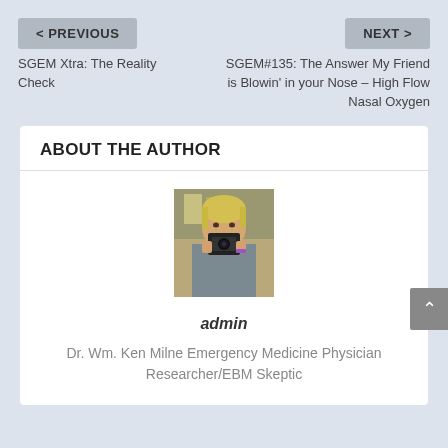< PREVIOUS
NEXT >
SGEM Xtra: The Reality Check
SGEM#135: The Answer My Friend is Blowin' in your Nose – High Flow Nasal Oxygen
ABOUT THE AUTHOR
[Figure (photo): Photo of a man holding a camera up to his face, blonde hair, wearing a grey t-shirt with a purple bracelet]
admin
Dr. Wm. Ken Milne Emergency Medicine Physician Researcher/EBM Skeptic